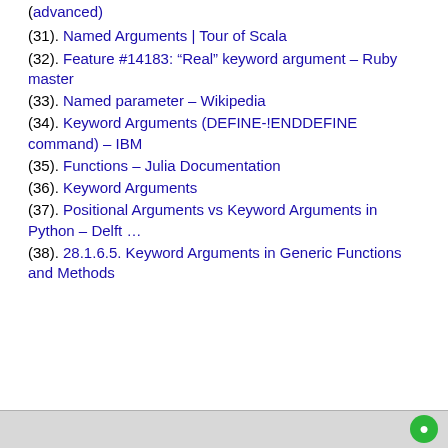(advanced)
(31). Named Arguments | Tour of Scala
(32). Feature #14183: “Real” keyword argument – Ruby master
(33). Named parameter – Wikipedia
(34). Keyword Arguments (DEFINE-!ENDDEFINE command) – IBM
(35). Functions – Julia Documentation
(36). Keyword Arguments
(37). Positional Arguments vs Keyword Arguments in Python – Delft …
(38). 28.1.6.5. Keyword Arguments in Generic Functions and Methods
[Figure (screenshot): Bottom browser bar with green circle icon]